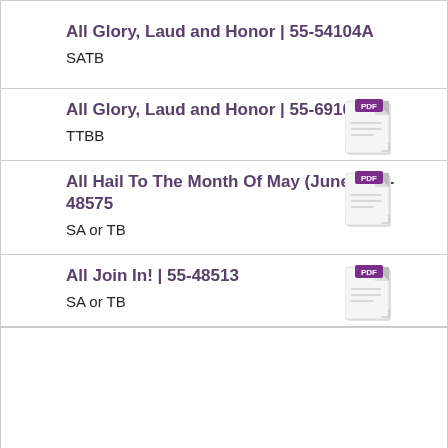All Glory, Laud and Honor | 55-54104A
SATB
[Figure (other): PDF document icon with purple PDF label badge]
All Glory, Laud and Honor | 55-69106
TTBB
[Figure (other): PDF document icon with purple PDF label badge]
All Hail To The Month Of May (June) | 55-48575
SA or TB
[Figure (other): PDF document icon with purple PDF label badge]
All Join In! | 55-48513
SA or TB